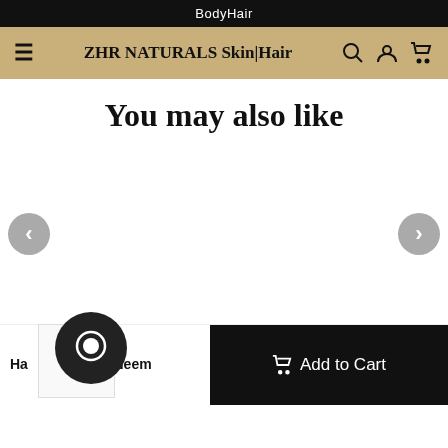Body  Hair
ZHR NATURALS Skin|Hair
You may also like
[Figure (screenshot): Product carousel area with left and right navigation arrows on a white background]
Hair ... ringraj & Neem
[Figure (screenshot): Product thumbnail image placeholder]
Add to Cart